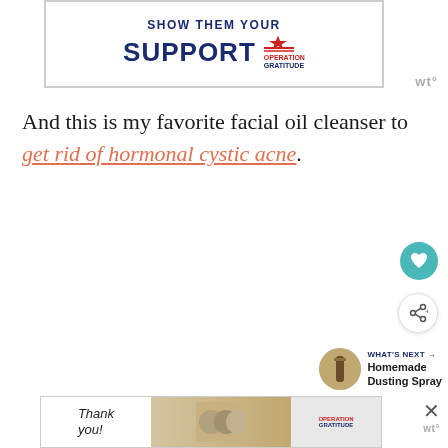[Figure (illustration): Operation Gratitude advertisement banner: 'SHOW THEM YOUR SUPPORT' with Operation Gratitude logo and star graphic]
And this is my favorite facial oil cleanser to get rid of hormonal cystic acne.
[Figure (illustration): Heart/save button (teal circular button with heart icon)]
[Figure (illustration): Share button (circular button with share icon)]
[Figure (illustration): What's Next panel: thumbnail of brown bottle, label 'WHAT'S NEXT', title 'Homemade Dusting Spray']
[Figure (illustration): Bottom Operation Gratitude advertisement banner with 'Thank you!' text, people photo, and Operation Gratitude logo]